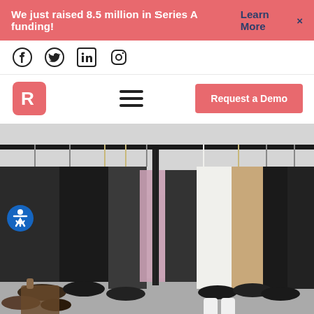We just raised 8.5 million in Series A funding! Learn More ×
[Figure (logo): Social media icons: Facebook, Twitter, LinkedIn, Instagram]
[Figure (logo): Navigation bar with R logo, hamburger menu, and Request a Demo button]
[Figure (photo): Photo of clothing rack with dark jackets and coats hanging, shoes on the floor below]